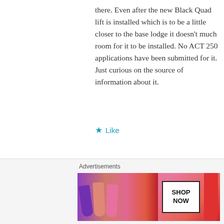there. Even after the new Black Quad lift is installed which is to be a little closer to the base lodge it doesn't much room for it to be installed. No ACT 250 applications have been submitted for it. Just curious on the source of information about it.
★ Like
PETER LANDSMAN
April 5, 2019 / 1:34 pm
Advertisements
[Figure (illustration): MAC cosmetics advertisement banner with lipsticks and Shop Now button]